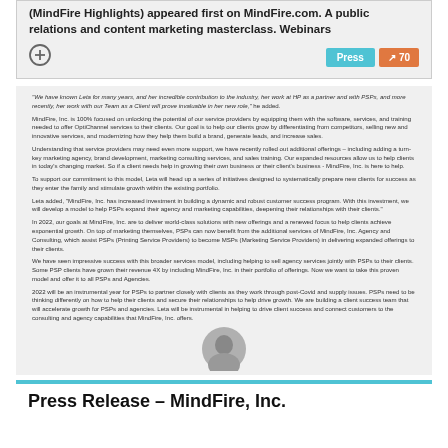(MindFire Highlights) appeared first on MindFire.com. A public relations and content marketing masterclass. Webinars
[Figure (other): Plus circle icon button]
Press
↗ 70
"We have known Leta for many years, and her incredible contribution to the industry, her work at HP as a partner and with PSPs, and more recently, her work with our Team as a Client will prove invaluable in her new role," he added.
MindFire, Inc. is 100% focused on unlocking the potential of our service providers by equipping them with the software, services, and training needed to offer OptiChannel services to their clients. Our goal is to help our clients grow by differentiating from competitors, selling new and innovative services, and modernizing how they help them build a brand, generate leads, and increase sales.
Understanding that service providers may need even more support, we have recently rolled out additional offerings – including adding a turn-key marketing agency, brand development, marketing consulting services, and sales training. Our expanded resources allow us to help clients in today's changing market. So if a client needs help in growing their own business or their client's business - MindFire, Inc. is here to help.
To support our commitment to this model, Leta will head up a series of initiatives designed to systematically prepare new clients for success as they enter the family and stimulate growth within the existing portfolio.
Leta added, "MindFire, Inc. has increased investment in building a dynamic and robust customer success program. With this investment, we will develop a model to help PSPs expand their agency and marketing capabilities, deepening their relationships with their clients."
In 2022, our goals at MindFire, Inc. are to deliver world-class solutions with new offerings and a renewed focus to help clients achieve exponential growth. On top of marketing themselves, PSPs can now benefit from the additional services of MindFire, Inc. Agency and Consulting, which assist PSPs (Printing Service Providers) to become MSPs (Marketing Service Providers) in delivering expanded offerings to their clients.
We have seen impressive success with this broader services model, including helping to sell agency services jointly with PSPs to their clients. Some PSP clients have grown their revenue 4X by including MindFire, Inc. in their portfolio of offerings. Now we want to take this proven model and offer it to all PSPs and Agencies.
2022 will be an instrumental year for PSPs to partner closely with clients as they work through post-Covid and supply issues. PSPs need to be thinking differently on how to help their clients and secure their relationships to help drive growth. We are building a client success team that will accelerate growth for PSPs and agencies. Leta will be instrumental in helping to drive client success and connect customers to the consulting and agency capabilities that MindFire, Inc. offers.
[Figure (photo): Headshot photo of a woman]
Press Release – MindFire, Inc.